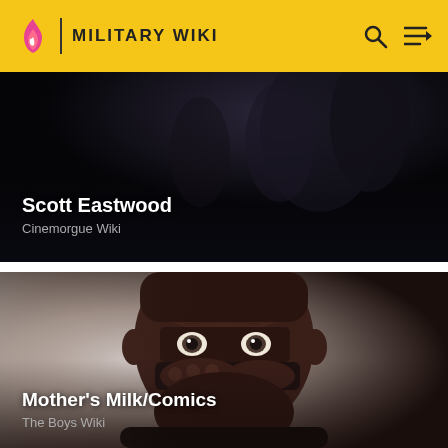MILITARY WIKI
[Figure (screenshot): Dark cinematic image with silhouetted figures, card for Scott Eastwood on Cinemorgue Wiki]
Scott Eastwood
Cinemorgue Wiki
[Figure (illustration): Comic book style illustration of a dark-skinned man peering over his glasses, card for Mother's Milk/Comics on The Boys Wiki]
Mother's Milk/Comics
The Boys Wiki